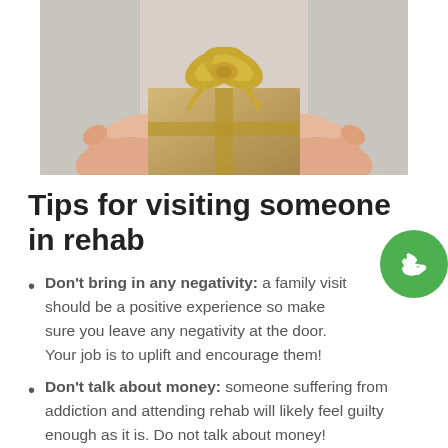[Figure (photo): Hands holding a gold/tan gift box with a gold ribbon bow on top, close-up photo against a light background]
Tips for visiting someone in rehab
Don't bring in any negativity: a family visit should be a positive experience so make sure you leave any negativity at the door. Your job is to uplift and encourage them!
Don't talk about money: someone suffering from addiction and attending rehab will likely feel guilty enough as it is. Do not talk about money!